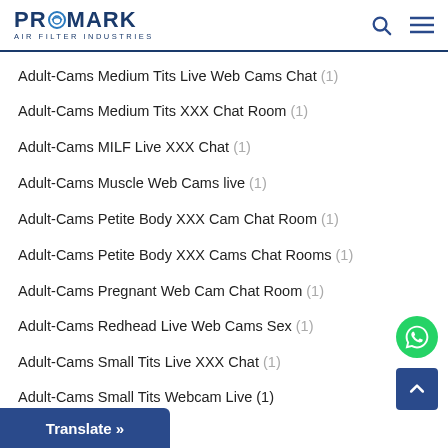PROMARK AIR FILTER INDUSTRIES
Adult-Cams Medium Tits Live Web Cams Chat (1)
Adult-Cams Medium Tits XXX Chat Room (1)
Adult-Cams MILF Live XXX Chat (1)
Adult-Cams Muscle Web Cams live (1)
Adult-Cams Petite Body XXX Cam Chat Room (1)
Adult-Cams Petite Body XXX Cams Chat Rooms (1)
Adult-Cams Pregnant Web Cam Chat Room (1)
Adult-Cams Redhead Live Web Cams Sex (1)
Adult-Cams Small Tits Live XXX Chat (1)
Adult-Cams Small Tits Webcam Live (1)